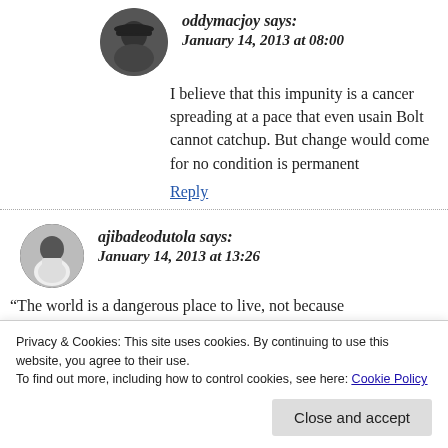[Figure (photo): Circular avatar photo of user oddymacjoy, person wearing a hat]
oddymacjoy says:
January 14, 2013 at 08:00
I believe that this impunity is a cancer spreading at a pace that even usain Bolt cannot catchup. But change would come for no condition is permanent
Reply
[Figure (photo): Circular avatar photo of user ajibadeodutola, person in white shirt]
ajibadeodutola says:
January 14, 2013 at 13:26
“The world is a dangerous place to live, not because of people who are evil, but because of the people who don’t
Privacy & Cookies: This site uses cookies. By continuing to use this website, you agree to their use.
To find out more, including how to control cookies, see here: Cookie Policy
Close and accept